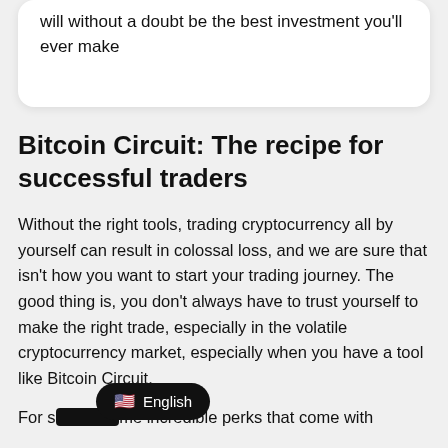will without a doubt be the best investment you'll ever make
Bitcoin Circuit: The recipe for successful traders
Without the right tools, trading cryptocurrency all by yourself can result in colossal loss, and we are sure that isn't how you want to start your trading journey. The good thing is, you don't always have to trust yourself to make the right trade, especially in the volatile cryptocurrency market, especially when you have a tool like Bitcoin Circuit.
For some incredible perks that come with